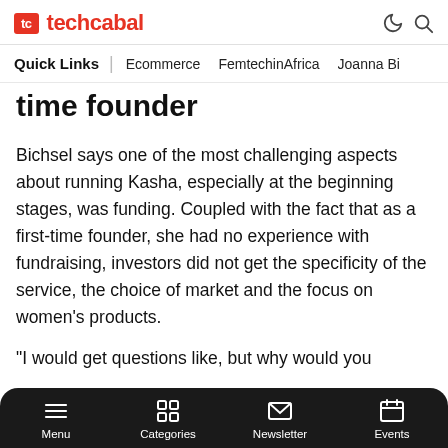techcabal
Quick Links | Ecommerce FemtechinAfrica Joanna Bi
time founder
Bichsel says one of the most challenging aspects about running Kasha, especially at the beginning stages, was funding. Coupled with the fact that as a first-time founder, she had no experience with fundraising, investors did not get the specificity of the service, the choice of market and the focus on women’s products.
“I would get questions like, but why would you
Menu Categories Newsletter Events